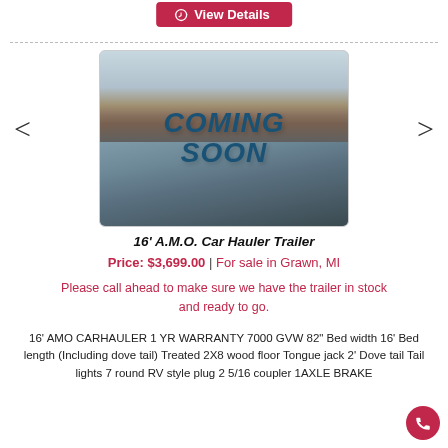[Figure (other): Red 'View Details' button at top center]
[Figure (photo): Trailer photo with 'COMING SOON' overlay text, showing a car hauler trailer in a parking lot with a brick building in background. Navigation arrows on left and right.]
16' A.M.O. Car Hauler Trailer
Price: $3,699.00 | For sale in Grawn, MI
Please call ahead to make sure we have the trailer in stock and ready to go.
16' AMO CARHAULER 1 YR WARRANTY 7000 GVW 82" Bed width 16' Bed length (Including dove tail) Treated 2X8 wood floor Tongue jack 2' Dove tail Tail lights 7 round RV style plug 2 5/16 coupler 1AXLE BRAKE